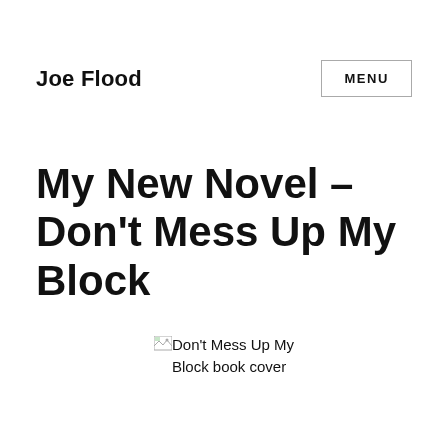Joe Flood
My New Novel – Don't Mess Up My Block
[Figure (illustration): Broken image placeholder for Don't Mess Up My Block book cover with alt text visible]